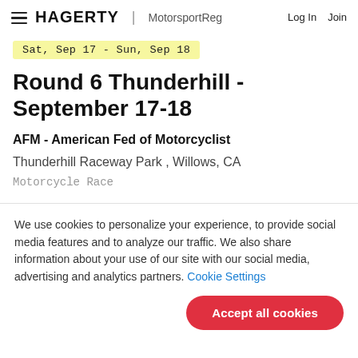HAGERTY | MotorsportReg  Log In  Join
Sat, Sep 17 - Sun, Sep 18
Round 6 Thunderhill - September 17-18
AFM - American Fed of Motorcyclist
Thunderhill Raceway Park , Willows, CA
Motorcycle Race
We use cookies to personalize your experience, to provide social media features and to analyze our traffic. We also share information about your use of our site with our social media, advertising and analytics partners. Cookie Settings
Accept all cookies